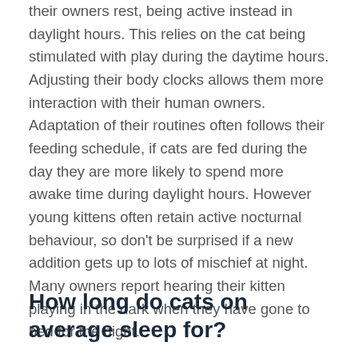their owners rest, being active instead in daylight hours. This relies on the cat being stimulated with play during the daytime hours. Adjusting their body clocks allows them more interaction with their human owners. Adaptation of their routines often follows their feeding schedule, if cats are fed during the day they are more likely to spend more awake time during daylight hours. However young kittens often retain active nocturnal behaviour, so don't be surprised if a new addition gets up to lots of mischief at night. Many owners report hearing their kitten playing in the dark when they have gone to bed for the night.
How long do cats on average sleep for?